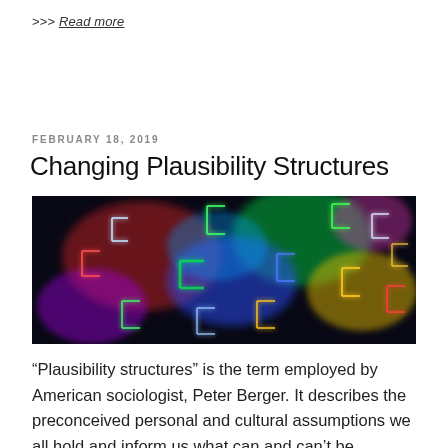>>> Read more
FEBRUARY 18, 2019
Changing Plausibility Structures
[Figure (photo): Abstract long-exposure photograph showing colorful neon light trails forming bracket and cross shapes against a dark background. Colors include red, green, blue, yellow, and purple.]
“Plausibility structures” is the term employed by American sociologist, Peter Berger. It describes the preconceived personal and cultural assumptions we all hold and inform us what can and can’t be believed.